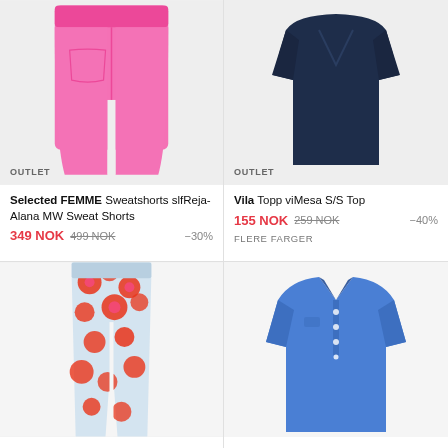[Figure (photo): Pink wide-leg sweat shorts on light gray background with OUTLET badge]
[Figure (photo): Dark navy V-neck short-sleeve top on light gray background with OUTLET badge]
Selected FEMME Sweatshorts slfReja-Alana MW Sweat Shorts 349 NOK 499 NOK -30%
Vila Topp viMesa S/S Top 155 NOK 259 NOK -40% FLERE FARGER
[Figure (photo): Colorful floral/abstract print wide-leg pants on white background]
[Figure (photo): Blue polo shirt on white background]